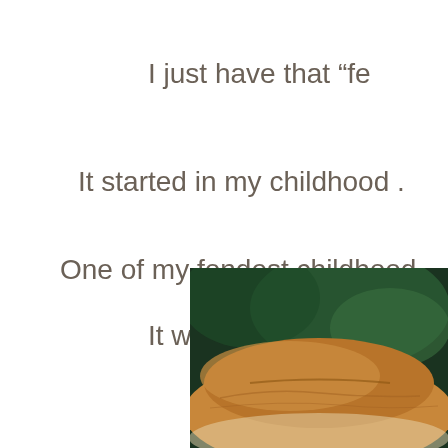I just have that “fe
It started in my childhood .
One of my fondest childhood
It was then an
[Figure (photo): Close-up photo of bread loaf with blurred green background]